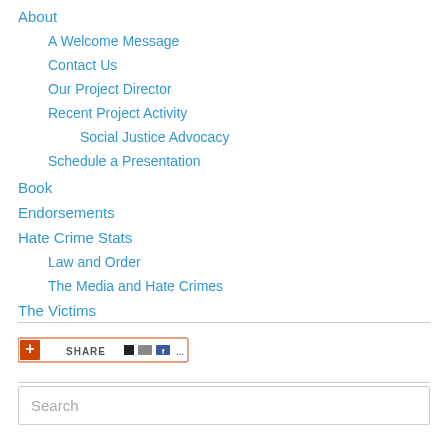About
A Welcome Message
Contact Us
Our Project Director
Recent Project Activity
Social Justice Advocacy
Schedule a Presentation
Book
Endorsements
Hate Crime Stats
Law and Order
The Media and Hate Crimes
The Victims
[Figure (screenshot): Share button with social media icons including del.icio.us, Digg, and Facebook]
Search